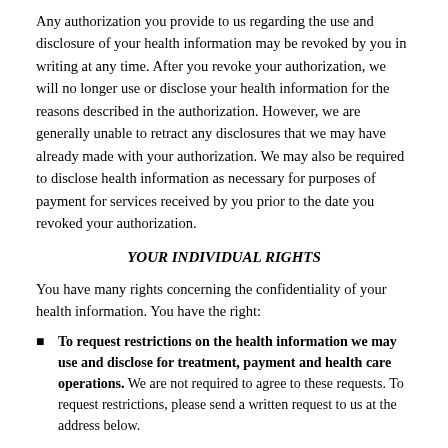Any authorization you provide to us regarding the use and disclosure of your health information may be revoked by you in writing at any time. After you revoke your authorization, we will no longer use or disclose your health information for the reasons described in the authorization. However, we are generally unable to retract any disclosures that we may have already made with your authorization. We may also be required to disclose health information as necessary for purposes of payment for services received by you prior to the date you revoked your authorization.
YOUR INDIVIDUAL RIGHTS
You have many rights concerning the confidentiality of your health information. You have the right:
To request restrictions on the health information we may use and disclose for treatment, payment and health care operations. We are not required to agree to these requests. To request restrictions, please send a written request to us at the address below.
To receive confidential communications of health information about you in any manner other than described in our